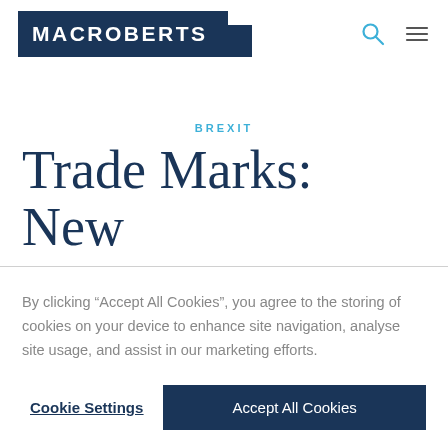[Figure (logo): MacRoberts law firm logo — white text on dark navy blue background with search and menu icons in teal/grey]
BREXIT
Trade Marks: New
By clicking “Accept All Cookies”, you agree to the storing of cookies on your device to enhance site navigation, analyse site usage, and assist in our marketing efforts.
Cookie Settings | Accept All Cookies